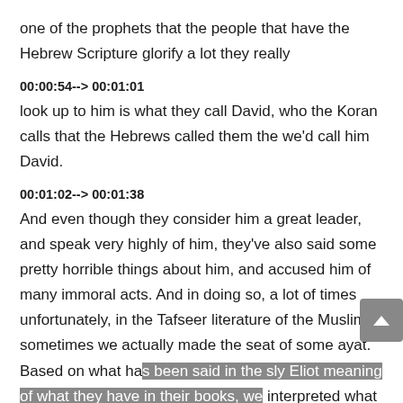one of the prophets that the people that have the Hebrew Scripture glorify a lot they really
00:00:54--> 00:01:01
look up to him is what they call David, who the Koran calls that the Hebrews called them the we'd call him David.
00:01:02--> 00:01:38
And even though they consider him a great leader, and speak very highly of him, they've also said some pretty horrible things about him, and accused him of many immoral acts. And in doing so, a lot of times unfortunately, in the Tafseer literature of the Muslim sometimes we actually made the seat of some ayat. Based on what has been said in the sly Eliot meaning of what they have in their books, we interpreted what we have, and we assume that that's what it's talking